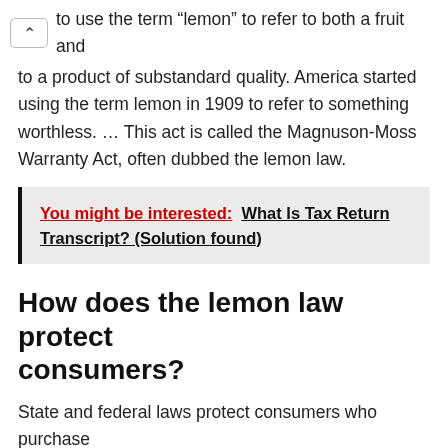to use the term “lemon” to refer to both a fruit and to a product of substandard quality. America started using the term lemon in 1909 to refer to something worthless. … This act is called the Magnuson-Moss Warranty Act, often dubbed the lemon law.
You might be interested:  What Is Tax Return Transcript? (Solution found)
How does the lemon law protect consumers?
State and federal laws protect consumers who purchase defective automobiles. These laws, known as “lemon